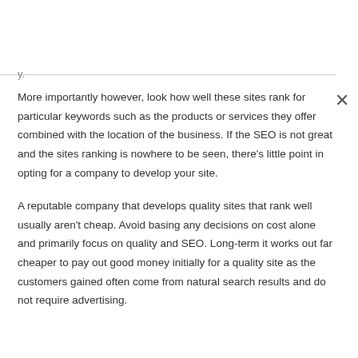More importantly however, look how well these sites rank for particular keywords such as the products or services they offer combined with the location of the business. If the SEO is not great and the sites ranking is nowhere to be seen, there’s little point in opting for a company to develop your site.
A reputable company that develops quality sites that rank well usually aren’t cheap. Avoid basing any decisions on cost alone and primarily focus on quality and SEO. Long-term it works out far cheaper to pay out good money initially for a quality site as the customers gained often come from natural search results and do not require advertising.